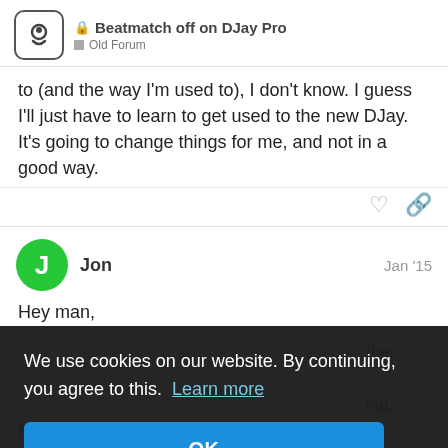Beatmatch off on DJay Pro — Old Forum
to (and the way I'm used to), I don't know. I guess I'll just have to learn to get used to the new DJay. It's going to change things for me, and not in a good way.
Jon  Jan '15
Hey man,
[Figure (screenshot): Cookie consent overlay with dark background. Text: 'We use cookies on our website. By continuing, you agree to this. Learn more' and an OK button.]
Basically, I learned a workaround to deal w